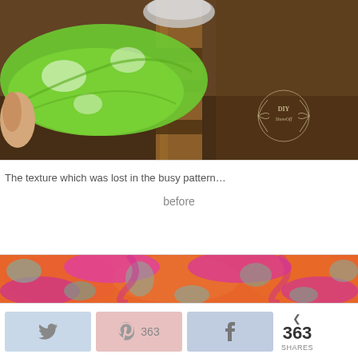[Figure (photo): Close-up photo of a hand pulling green patterned fabric off a wooden furniture leg, with dark blurred background. A DIY ShowOff watermark logo in bottom right corner.]
The texture which was lost in the busy pattern…
before
[Figure (photo): Strip photo showing colorful fabric with orange, pink, and teal/grey ikat or geometric pattern.]
363 SHARES (Twitter button, Pinterest 363 button, Facebook button, < 363 SHARES)